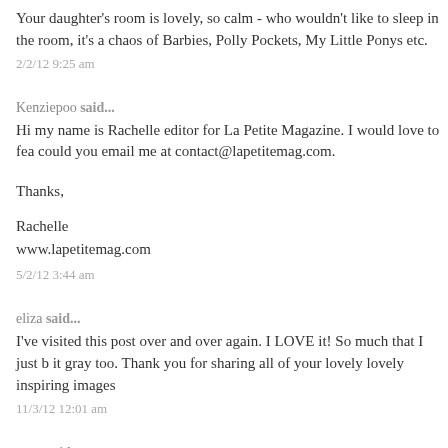Your daughter's room is lovely, so calm - who wouldn't like to sleep in the room, it's a chaos of Barbies, Polly Pockets, My Little Ponys etc.
2/2/12 9:25 am
Kenziepoo said...
Hi my name is Rachelle editor for La Petite Magazine. I would love to fea could you email me at contact@lapetitemag.com.
Thanks,
Rachelle
www.lapetitemag.com
5/2/12 3:44 am
eliza said...
I've visited this post over and over again. I LOVE it! So much that I just b it gray too. Thank you for sharing all of your lovely lovely inspiring images
11/3/12 12:01 am
serra said...
amazin elephant doll!! plus cushion!!
15/3/12 9:50 am